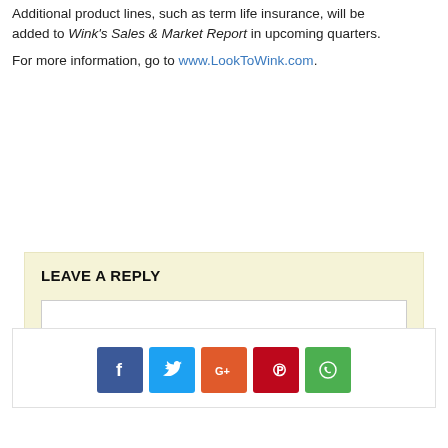Additional product lines, such as term life insurance, will be added to Wink's Sales & Market Report in upcoming quarters.
For more information, go to www.LookToWink.com.
LEAVE A REPLY
[Figure (other): Comment text input box inside a beige reply section]
[Figure (infographic): Social share buttons: Facebook, Twitter, Google+, Pinterest, WhatsApp]